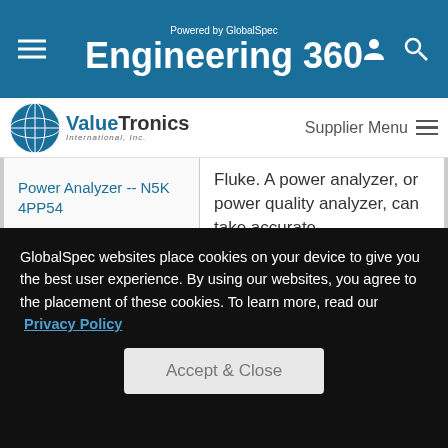Powered by GlobalSpec Engineering 360
[Figure (logo): ValueTronics International Inc. logo with globe icon]
Supplier Menu
Fluke. A power analyzer, or power quality analyzer, can take accurate measurements of direct current DC, alternating current AC, voltages, phase rotations,...
Power Analyzer -- N5K 4PP54
The N5K 4PP54IP is a Power Analyzer from
GlobalSpec websites place cookies on your device to give you the best user experience. By using our websites, you agree to the placement of these cookies. To learn more, read our Privacy Policy
Accept & Close